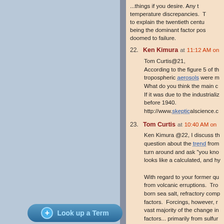...things if you desire. Any temperature discrepancies. to explain the twentieth centu being the dominant factor po doomed to failure.
22. Ken Kimura at 11:12 AM on ...
Tom Curtis@21,
According to the figure 5 of th tropospheric aerosols were m What do you think the main c If it was due to the industrializ before 1940.
http://www.skepticalscience.c
23. Tom Curtis at 10:40 AM on ...
Ken Kimura @22, I discuss th question about the trend from turn around and ask "you kno looks like a calculated, and hy
With regard to your former qu from volcanic erruptions. Tro born sea salt, refractory comp factors. Forcings, however, r vast majority of the change in factors... primarily from sulfur